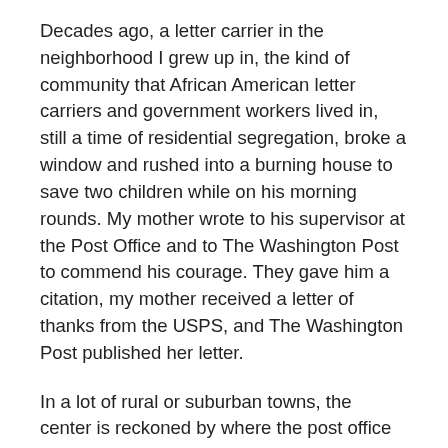Decades ago, a letter carrier in the neighborhood I grew up in, the kind of community that African American letter carriers and government workers lived in, still a time of residential segregation, broke a window and rushed into a burning house to save two children while on his morning rounds. My mother wrote to his supervisor at the Post Office and to The Washington Post to commend his courage. They gave him a citation, my mother received a letter of thanks from the USPS, and The Washington Post published her letter.
In a lot of rural or suburban towns, the center is reckoned by where the post office is located. I'm willing to bet that, if there were no longer a post office, no longer daily mail delivery, many a town would shrink and fade away. Demanding that Congress and the Executive Branch of our government rescue the United States Postal Service could be THE galvanizing issue of our modern democracy. Demanding the right to cast